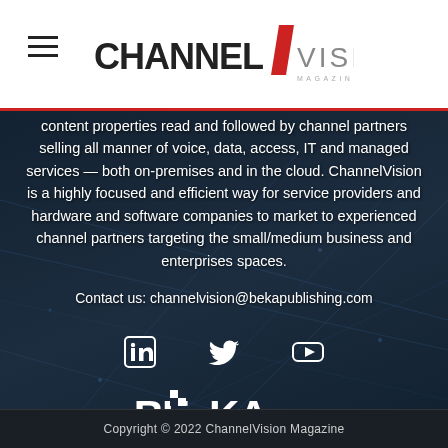ChannelVision Magazine
content properties read and followed by channel partners selling all manner of voice, data, access, IT and managed services — both on-premises and in the cloud. ChannelVision is a highly focused and efficient way for service providers and hardware and software companies to market to experienced channel partners targeting the small/medium business and enterprises spaces.
Contact us: channelvision@bekapublishing.com
[Figure (illustration): Social media icons: LinkedIn, Twitter, YouTube]
[Figure (logo): BEKA Business Media logo in white]
Copyright © 2022 ChannelVision Magazine